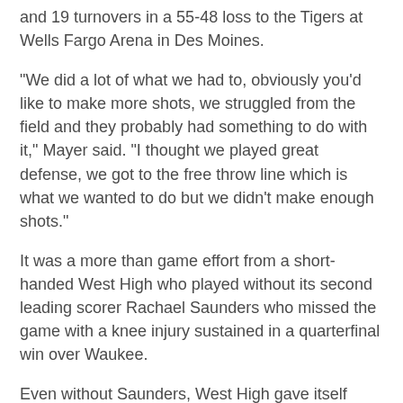and 19 turnovers in a 55-48 loss to the Tigers at Wells Fargo Arena in Des Moines.
“We did a lot of what we had to, obviously you’d like to make more shots, we struggled from the field and they probably had something to do with it,” Mayer said. “I thought we played great defense, we got to the free throw line which is what we wanted to do but we didn’t make enough shots.”
It was a more than game effort from a short-handed West High who played without its second leading scorer Rachael Saunders who missed the game with a knee injury sustained in a quarterfinal win over Waukee.
Even without Saunders, West High gave itself chances.
West High (21-4) had a 21-14 halftime lead and trailed by just one with under three minutes to play but missed its final